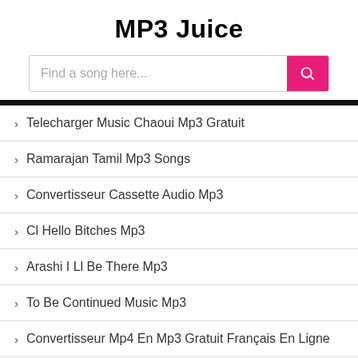MP3 Juice
Telecharger Music Chaoui Mp3 Gratuit
Ramarajan Tamil Mp3 Songs
Convertisseur Cassette Audio Mp3
Cl Hello Bitches Mp3
Arashi I Ll Be There Mp3
To Be Continued Music Mp3
Convertisseur Mp4 En Mp3 Gratuit Français En Ligne
Télécharger Reggae Mp3 Gratuit
Siren Ringtone Download Mp3
Post Malone Saint Tropez Mp3
James Brown Mp3 Telecharger Gratuit